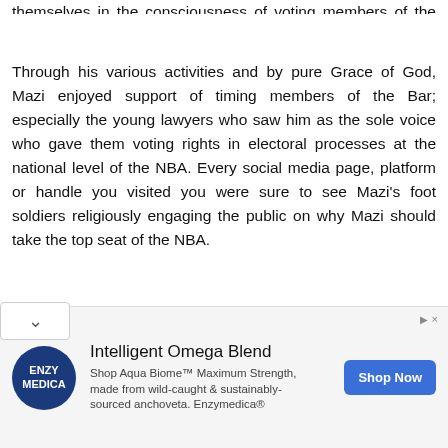themselves in the consciousness of voting members of the Bar.
Through his various activities and by pure Grace of God, Mazi enjoyed support of timing members of the Bar; especially the young lawyers who saw him as the sole voice who gave them voting rights in electoral processes at the national level of the NBA. Every social media page, platform or handle you visited you were sure to see Mazi’s foot soldiers religiously engaging the public on why Mazi should take the top seat of the NBA.
Whilst the quiet sensitization was going on, there were suspicions from some quarters that the popularity being garnered by Mazi was beginning to unsettle some members of the profession who are of the historic view that anyone who
[Figure (other): Advertisement for Enzy Medica Intelligent Omega Blend product, featuring logo, product description about Aqua Biome Maximum Strength, and a Shop Now button.]